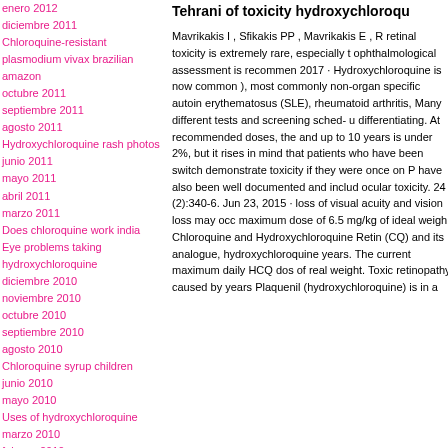enero 2012
diciembre 2011
Chloroquine-resistant
plasmodium vivax brazilian
amazon
octubre 2011
septiembre 2011
agosto 2011
Hydroxychloroquine rash photos
junio 2011
mayo 2011
abril 2011
marzo 2011
Does chloroquine work india
Eye problems taking hydroxychloroquine
diciembre 2010
noviembre 2010
octubre 2010
septiembre 2010
agosto 2010
Chloroquine syrup children
junio 2010
mayo 2010
Uses of hydroxychloroquine
marzo 2010
febrero 2010
Tehrani of toxicity hydroxychloroqu
Mavrikakis I , Sfikakis PP , Mavrikakis E , R retinal toxicity is extremely rare, especially t ophthalmological assessment is recommen 2017 · Hydroxychloroquine is now common ), most commonly non-organ specific autoin erythematosus (SLE), rheumatoid arthritis, Many different tests and screening sched- u differentiating. At recommended doses, the and up to 10 years is under 2%, but it rises in mind that patients who have been switch demonstrate toxicity if they were once on P have also been well documented and includ ocular toxicity. 24 (2):340-6. Jun 23, 2015 · loss of visual acuity and vision loss may occ maximum dose of 6.5 mg/kg of ideal weigh Chloroquine and Hydroxychloroquine Retin (CQ) and its analogue, hydroxychloroquine years. The current maximum daily HCQ dos of real weight. Toxic retinopathy caused by years Plaquenil (hydroxychloroquine) is in a